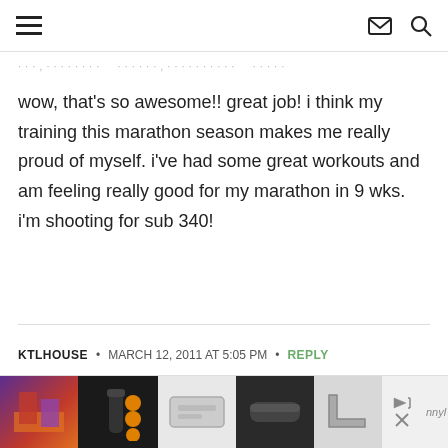[hamburger menu icon] [mail icon] [search icon]
· · · , · · · · · · · ·   · · · · · · , · · · · · · · · · ·   · · · · ·
wow, that's so awesome!! great job! i think my training this marathon season makes me really proud of myself. i've had some great workouts and am feeling really good for my marathon in 9 wks. i'm shooting for sub 340!
KTLHOUSE  •  MARCH 12, 2011 AT 5:05 PM  •  REPLY
[Figure (screenshot): Advertisement bar with thumbnail images of various products]